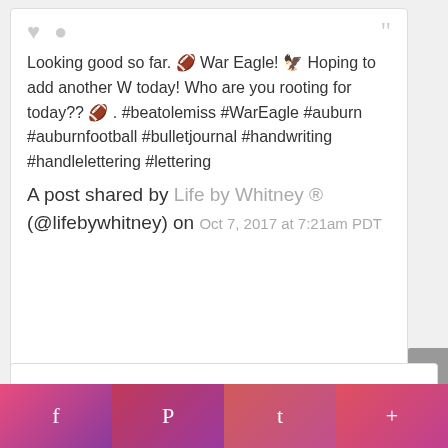Looking good so far. 🏈 War Eagle! 🦅 Hoping to add another W today! Who are you rooting for today?? 🏈 . #beatolemiss #WarEagle #auburn #auburnfootball #bulletjournal #handwriting #handlelettering #lettering
A post shared by Life by Whitney ® (@lifebywhitney) on Oct 7, 2017 at 7:21am PDT
[Figure (screenshot): Social media share buttons bar at bottom: Facebook (f), Pinterest (P), Twitter (bird), Plus (+)]